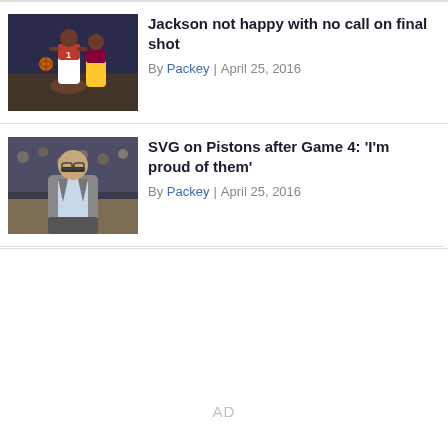[Figure (photo): Basketball player in Detroit Pistons red and white uniform on court with opponent in blue and gold uniform]
Jackson not happy with no call on final shot
By Packey | April 25, 2016
[Figure (photo): Coach Stan Van Gundy in grey suit standing on sideline at basketball arena]
SVG on Pistons after Game 4: 'I'm proud of them'
By Packey | April 25, 2016
AD